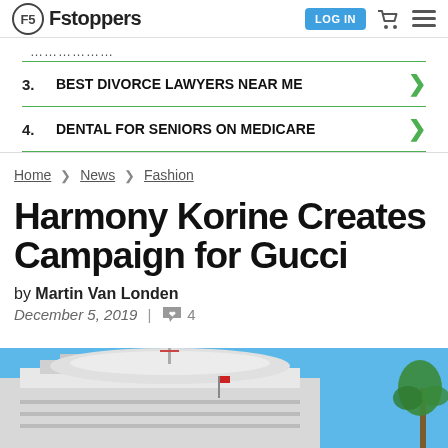Fstoppers | LOG IN
... (partial item cut off)
3. BEST DIVORCE LAWYERS NEAR ME
4. DENTAL FOR SENIORS ON MEDICARE
Home > News > Fashion
Harmony Korine Creates Campaign for Gucci
by Martin Van Londen
December 5, 2019 | 4
[Figure (photo): Partial photo of a building (cruise terminal or similar) with blue sky and palm tree]